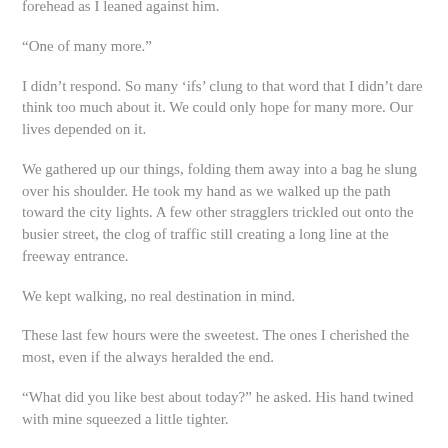forehead as I leaned against him.
“One of many more.”
I didn’t respond. So many ‘ifs’ clung to that word that I didn’t dare think too much about it. We could only hope for many more. Our lives depended on it.
We gathered up our things, folding them away into a bag he slung over his shoulder. He took my hand as we walked up the path toward the city lights. A few other stragglers trickled out onto the busier street, the clog of traffic still creating a long line at the freeway entrance.
We kept walking, no real destination in mind.
These last few hours were the sweetest. The ones I cherished the most, even if the always heralded the end.
“What did you like best about today?” he asked. His hand twined with mine squeezed a little tighter.